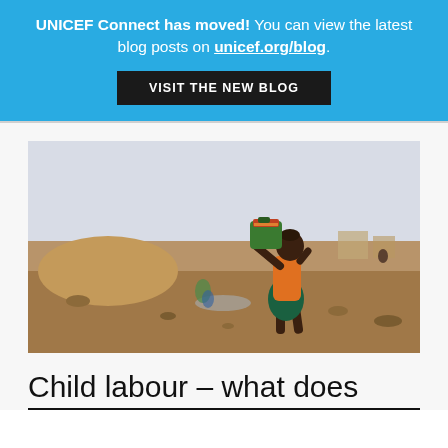UNICEF Connect has moved! You can view the latest blog posts on unicef.org/blog. VISIT THE NEW BLOG
[Figure (photo): A child carrying a large bucket on their shoulder at a dry, rocky mining or excavation site. The child is wearing an orange top and green skirt, walking across a barren sandy landscape.]
Child labour – what does the data tell us?